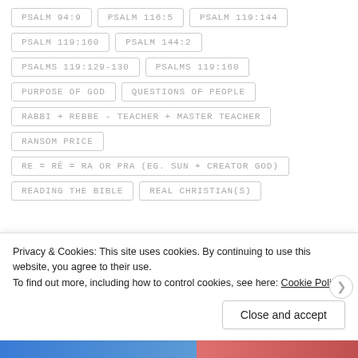PSALM 94:9
PSALM 116:5
PSALM 119:144
PSALM 119:160
PSALM 144:2
PSALMS 119:129-130
PSALMS 119:160
PURPOSE OF GOD
QUESTIONS OF PEOPLE
RABBI + REBBE - TEACHER + MASTER TEACHER
RANSOM PRICE
RE = RÊ = RA OR PRA (EG. SUN + CREATOR GOD)
READING THE BIBLE
REAL CHRISTIAN(S)
Privacy & Cookies: This site uses cookies. By continuing to use this website, you agree to their use. To find out more, including how to control cookies, see here: Cookie Policy
Close and accept